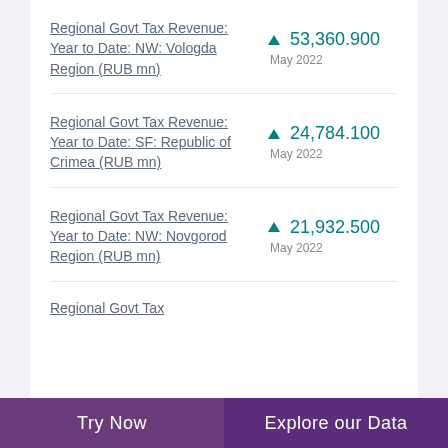Regional Govt Tax Revenue: Year to Date: NW: Vologda Region (RUB mn)
Regional Govt Tax Revenue: Year to Date: SF: Republic of Crimea (RUB mn)
Regional Govt Tax Revenue: Year to Date: NW: Novgorod Region (RUB mn)
Regional Govt Tax
Try Now   Explore our Data